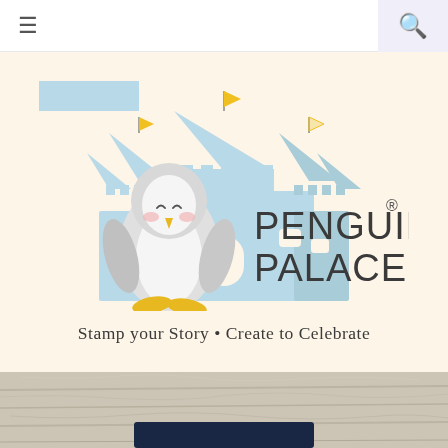≡  🔍
[Figure (logo): Penguin Palace logo: a cute cartoon penguin in front of a light blue castle with yellow flag toppers, with text PENGUIN PALACE® in dark sans-serif font]
Stamp your Story • Create to Celebrate
[Figure (photo): Bottom portion of page showing a wood-grain textured surface (whitewashed wood boards) with a dark navy rectangular element at the bottom center]